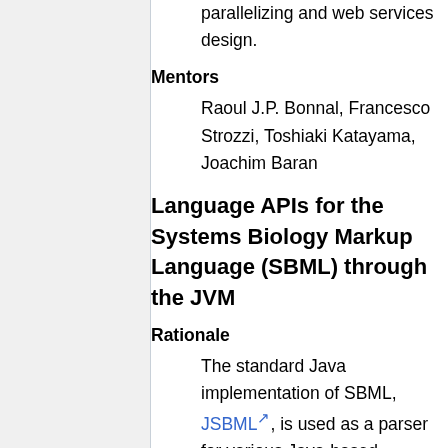programming and some concepts in parallelizing and web services design.
Mentors
Raoul J.P. Bonnal, Francesco Strozzi, Toshiaki Katayama, Joachim Baran
Language APIs for the Systems Biology Markup Language (SBML) through the JVM
Rationale
The standard Java implementation of SBML, JSBML, is used as a parser for various Java-based systems biology applications. This fulfills one niche, but the versatility of the JVM can be utilized to employ JSBML as a parser for systems biology applications that are written in other